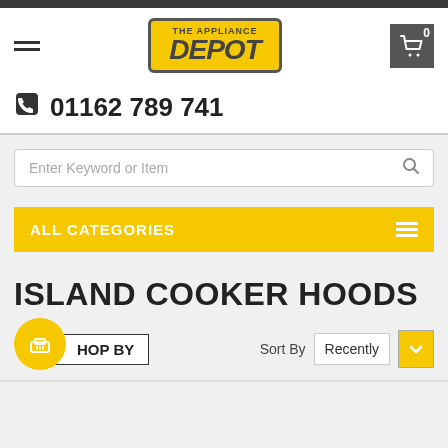[Figure (logo): The Appliance Depot logo with yellow background and dark border]
01162 789 741
Enter Keyword or Item
ALL CATEGORIES
ISLAND COOKER HOODS
HOP BY
Sort By Recently